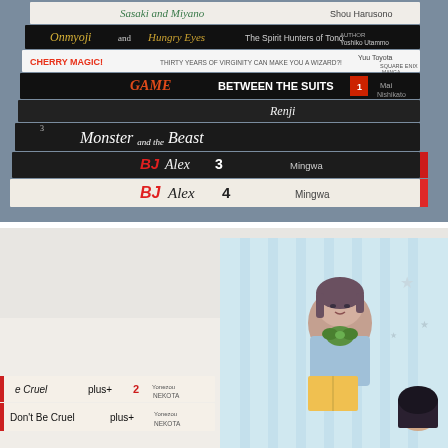[Figure (photo): Stack of manga/BL books photographed from above on a blue-grey surface. Visible titles from top to bottom: 'Sasaki and Miyano' by Shou Harusono, 'Onmyoji and Hungry Eyes: The Spirit Hunters of Tono' by Author Yoshiko Utammo, 'Cherry Magic! Thirty Years of Virginity Can Make You a Wizard?!' by Yuu Toyota (Square Enix Manga), 'Game Between the Suits' by Mai Nishikato (vol 1), 'Renji', 'Monster and the Beast' (vol 3), 'BJ Alex 3' by Mingwa, 'BJ Alex 4' by Mingwa]
[Figure (photo): Two manga book spines on a light background next to a manga illustration panel. Spines read 'e Cruel plus+ 2 Yonezou Nekota' and 'Don't Be Cruel plus+ Yonezou Nekota'. The illustration shows a manga character with short brown hair wearing casual clothes, surrounded by decorative elements including a green bow/ribbon and stars on a light blue striped background.]